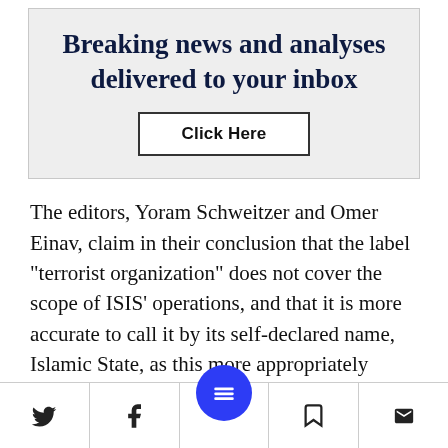Breaking news and analyses delivered to your inbox
Click Here
The editors, Yoram Schweitzer and Omer Einav, claim in their conclusion that the label “terrorist organization” does not cover the scope of ISIS’ operations, and that it is more accurate to call it by its self-declared name, Islamic State, as this more appropriately reflects the organization’s goals and visions –